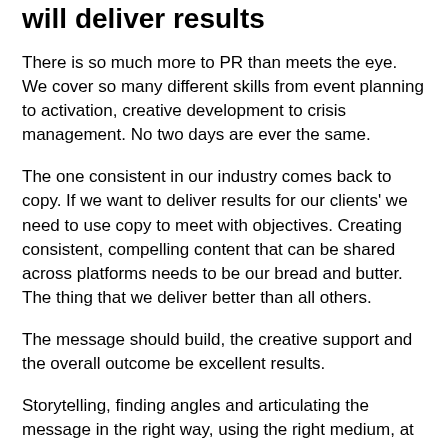will deliver results
There is so much more to PR than meets the eye. We cover so many different skills from event planning to activation, creative development to crisis management. No two days are ever the same.
The one consistent in our industry comes back to copy. If we want to deliver results for our clients' we need to use copy to meet with objectives. Creating consistent, compelling content that can be shared across platforms needs to be our bread and butter. The thing that we deliver better than all others.
The message should build, the creative support and the overall outcome be excellent results.
Storytelling, finding angles and articulating the message in the right way, using the right medium, at the right time is PR.